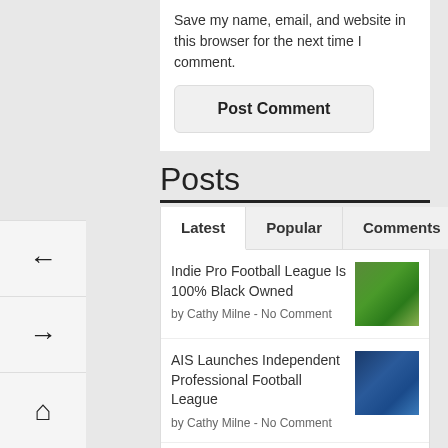Save my name, email, and website in this browser for the next time I comment.
Post Comment
Posts
Latest | Popular | Comments
Indie Pro Football League Is 100% Black Owned
by Cathy Milne - No Comment
AIS Launches Independent Professional Football League
by Cathy Milne - No Comment
CSU Presents 4-Day Virtual Black Media & Entertainment Industry Conference